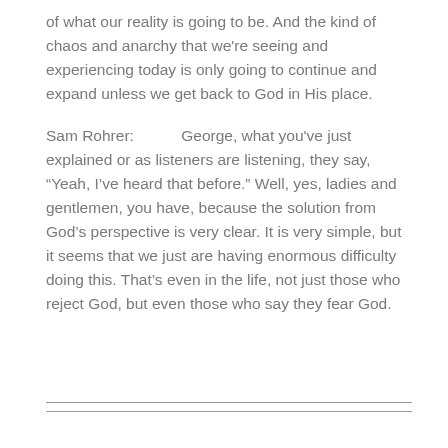of what our reality is going to be. And the kind of chaos and anarchy that we're seeing and experiencing today is only going to continue and expand unless we get back to God in His place.
Sam Rohrer:          George, what you've just explained or as listeners are listening, they say, “Yeah, I've heard that before.” Well, yes, ladies and gentlemen, you have, because the solution from God's perspective is very clear. It is very simple, but it seems that we just are having enormous difficulty doing this. That's even in the life, not just those who reject God, but even those who say they fear God.